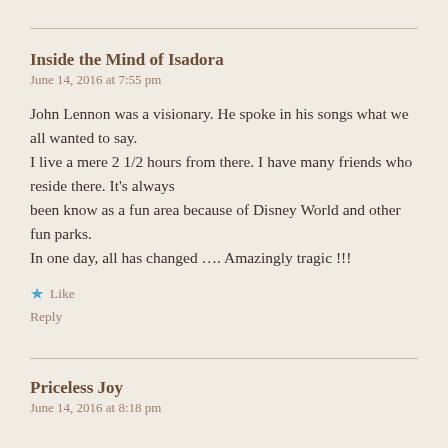Inside the Mind of Isadora
June 14, 2016 at 7:55 pm
John Lennon was a visionary. He spoke in his songs what we all wanted to say.
I live a mere 2 1/2 hours from there. I have many friends who reside there. It's always been know as a fun area because of Disney World and other fun parks.
In one day, all has changed …. Amazingly tragic !!!
★ Like
Reply
Priceless Joy
June 14, 2016 at 8:18 pm